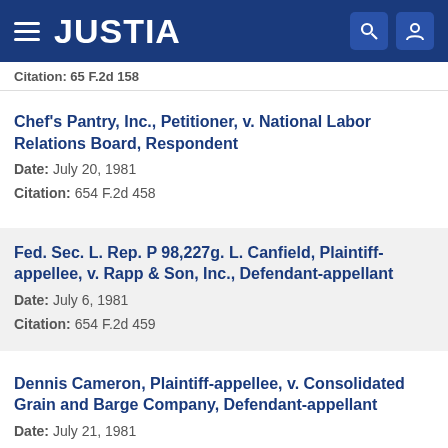JUSTIA
Citation: 65 F.2d 158
Chef's Pantry, Inc., Petitioner, v. National Labor Relations Board, Respondent
Date: July 20, 1981
Citation: 654 F.2d 458
Fed. Sec. L. Rep. P 98,227g. L. Canfield, Plaintiff-appellee, v. Rapp & Son, Inc., Defendant-appellant
Date: July 6, 1981
Citation: 654 F.2d 459
Dennis Cameron, Plaintiff-appellee, v. Consolidated Grain and Barge Company, Defendant-appellant
Date: July 21, 1981